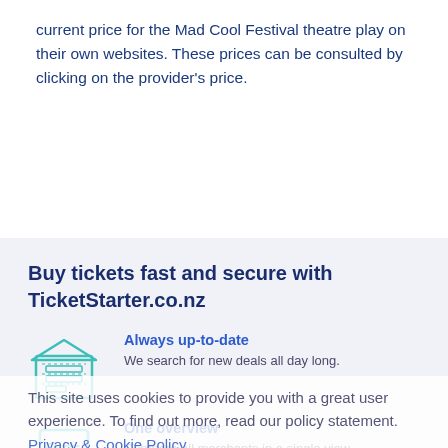current price for the Mad Cool Festival theatre play on their own websites. These prices can be consulted by clicking on the provider's price.
Buy tickets fast and secure with TicketStarter.co.nz
Always up-to-date — We search for new deals all day long.
One overview — Compare all merchants in a single view
Verified merchants — We offer you only deals from trusted sellers
This site uses cookies to provide you with a great user experience. To find out more, read our policy statement. Privacy & Cookie Policy
Accept